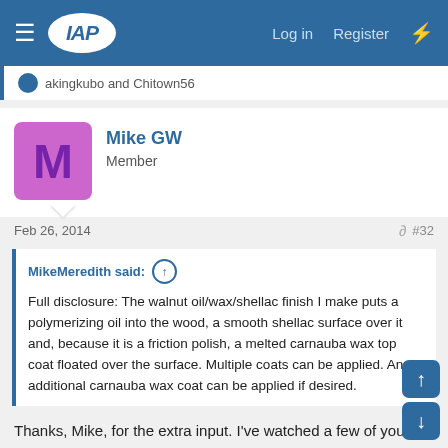IAP  Log in  Register
akingkubo and Chitown56
Mike GW
Member
Feb 26, 2014  #32
MikeMeredith said: ↑
Full disclosure: The walnut oil/wax/shellac finish I make puts a polymerizing oil into the wood, a smooth shellac surface over it and, because it is a friction polish, a melted carnauba wax top coat floated over the surface. Multiple coats can be applied. An additional carnauba wax coat can be applied if desired.
Thanks, Mike, for the extra input. I've watched a few of your videos and have have been a subscriber to your Youtube channel. For the use of pens I'm assuming that the WOWS formula refered to here is the one with the microcrystalline wax